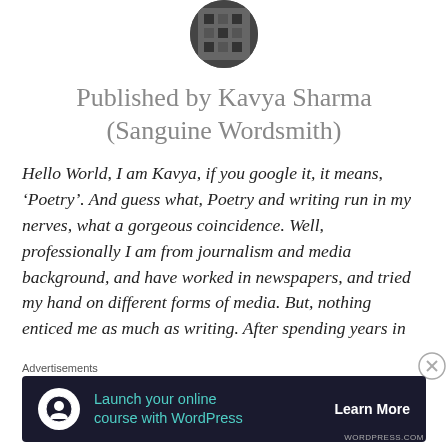[Figure (photo): Circular avatar photo of Kavya Sharma at the top center of the page]
Published by Kavya Sharma (Sanguine Wordsmith)
Hello World, I am Kavya, if you google it, it means, ‘Poetry’. And guess what, Poetry and writing run in my nerves, what a gorgeous coincidence. Well, professionally I am from journalism and media background, and have worked in newspapers, and tried my hand on different forms of media. But, nothing enticed me as much as writing. After spending years in
[Figure (infographic): Advertisement banner with dark background: icon of person at desk, text 'Launch your online course with WordPress', 'Learn More' call to action button]